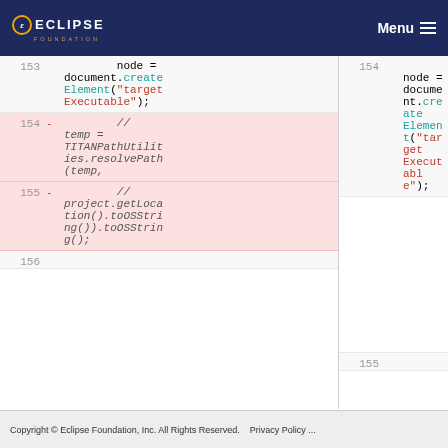ECLIPSE FOUNDATION Menu
153  node = document.createElement("targetExecutable");  154  node = document.createElement("targetExecutable");  154 -  // temp = TITANPathUtilities.resolvePath(temp,  155 -  // project.getLocation().toOSString()).toOSString();  156  155
Copyright © Eclipse Foundation, Inc. All Rights Reserved.  Privacy Policy ...